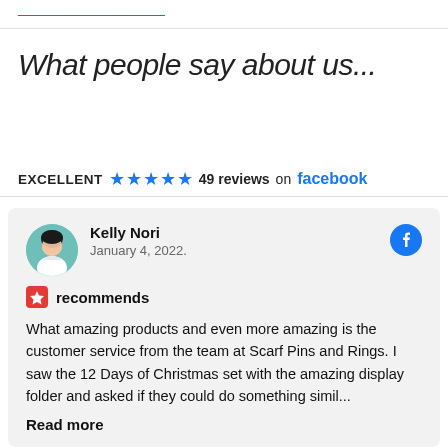What people say about us...
EXCELLENT ★★★★★ 49 reviews on facebook
Kelly Nori
January 4, 2022.
recommends
What amazing products and even more amazing is the customer service from the team at Scarf Pins and Rings. I saw the 12 Days of Christmas set with the amazing display folder and asked if they could do something simil...
Read more